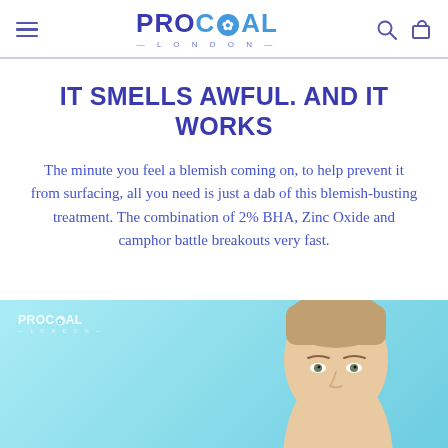PROCOAL LONDON
IT SMELLS AWFUL. AND IT WORKS
The minute you feel a blemish coming on, to help prevent it from surfacing, all you need is just a dab of this blemish-busting treatment. The combination of 2% BHA, Zinc Oxide and camphor battle breakouts very fast.
[Figure (photo): Woman with clear skin on a light blue background with ProCoal London watermark logo in the bottom left corner]